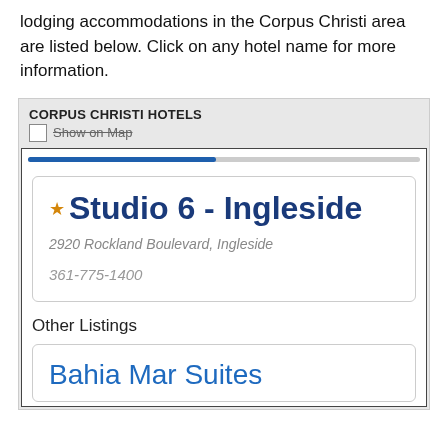lodging accommodations in the Corpus Christi area are listed below. Click on any hotel name for more information.
CORPUS CHRISTI HOTELS
Show on Map
Studio 6 - Ingleside
2920 Rockland Boulevard, Ingleside
361-775-1400
Other Listings
Bahia Mar Suites